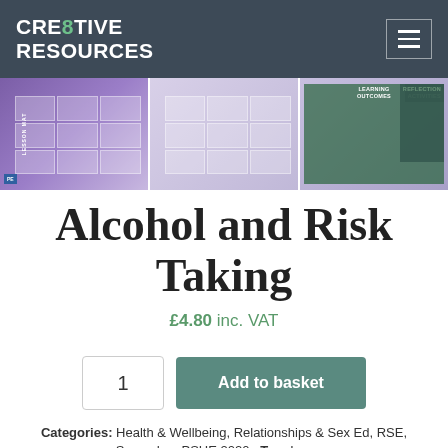CRE8TIVE RESOURCES
[Figure (screenshot): Product preview thumbnails showing lesson materials for Alcohol and Risk Taking PSHE resource]
Alcohol and Risk Taking
£4.80 inc. VAT
1  Add to basket
Categories: Health & Wellbeing, Relationships & Sex Ed, RSE, Secondary PSHE 2020  Tag: Lesson